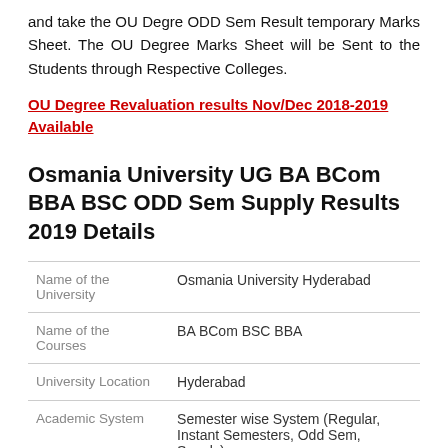and take the OU Degre ODD Sem Result temporary Marks Sheet. The OU Degree Marks Sheet will be Sent to the Students through Respective Colleges.
OU Degree Revaluation results Nov/Dec 2018-2019 Available
Osmania University UG BA BCom BBA BSC ODD Sem Supply Results 2019 Details
| Field | Value |
| --- | --- |
| Name of the University | Osmania University Hyderabad |
| Name of the Courses | BA BCom BSC BBA |
| University Location | Hyderabad |
| Academic System | Semester wise System (Regular, Instant Semesters, Odd Sem, Supply) |
| Category | OU Degree Odd Sem Results 2019 |